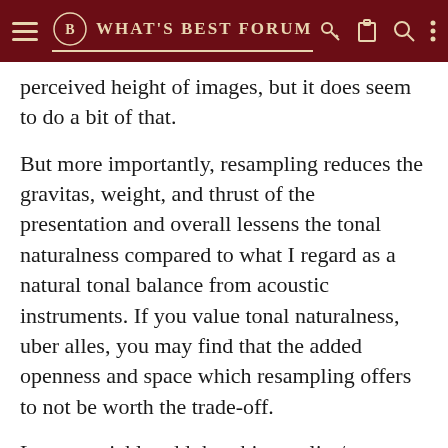WHAT'S BEST FORUM
perceived height of images, but it does seem to do a bit of that.
But more importantly, resampling reduces the gravitas, weight, and thrust of the presentation and overall lessens the tonal naturalness compared to what I regard as a natural tonal balance from acoustic instruments. If you value tonal naturalness, uber alles, you may find that the added openness and space which resampling offers to not be worth the trade-off.
Let me quickly add that this tonality/space trade-off is much less apparent with Roon's DSP engine than it has been with other resampling I've listened to, including the Lumin App's own implementation of resampling [high] res PCM or DSD. With Roon's implementation, I think it